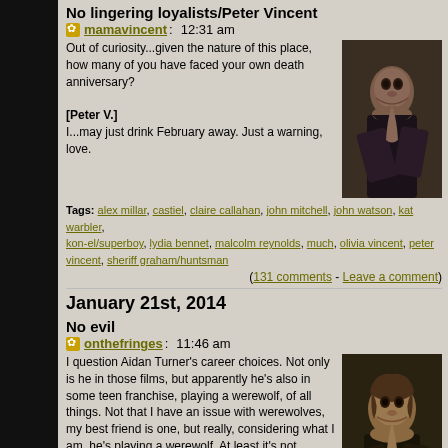No lingering loyalists/Peter Vincent
mamavincent:   12:31 am
Out of curiosity...given the nature of this place, how many of you have faced your own death anniversary?
[Peter V.]
I...may just drink February away. Just a warning, love.
[Figure (photo): Photo of a young woman with dark hair looking to the side, dark background]
Tags: alex millar, castiel, claire callahan, john mitchell, john watson, kat warbler, kon-el/superboy, lydia bennet, malcolm reynolds, much, olivia vincent, peter vincent, sheriff graham/huntsman
(131 comments - Leave a comment)
January 21st, 2014
No evil
onthefringes:   11:46 am
I question Aidan Turner's career choices. Not only is he in those films, but apparently he's also in some teen franchise, playing a werewolf, of all things. Not that I have an issue with werewolves, my best friend is one, but really, considering what I am, he's playing a werewolf. At least it's not Twilight shit.
[FILTERED TO VAMPIRES]
Anyone else having issues since the battle?
Started craving blood again.
Didn't have any but
So, how is everyone?
Okay, that's a load of bollocks, Mitchell.
Failing at the social thing.
[Figure (photo): Photo of a young man with dark curly hair, looking forward, dark background]